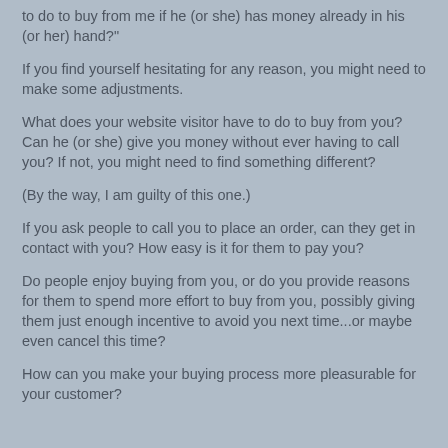to do to buy from me if he (or she) has money already in his (or her) hand?"
If you find yourself hesitating for any reason, you might need to make some adjustments.
What does your website visitor have to do to buy from you?  Can he (or she) give you money without ever having to call you?  If not, you might need to find something different?
(By the way, I am guilty of this one.)
If you ask people to call you to place an order, can they get in contact with you?  How easy is it for them to pay you?
Do people enjoy buying from you, or do you provide reasons for them to spend more effort to buy from you, possibly giving them just enough incentive to avoid you next time...or maybe even cancel this time?
How can you make your buying process more pleasurable for your customer?